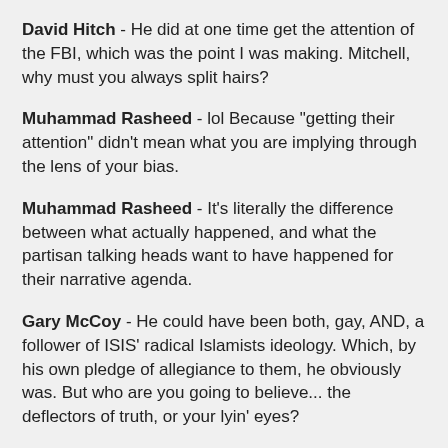David Hitch - He did at one time get the attention of the FBI, which was the point I was making. Mitchell, why must you always split hairs?
Muhammad Rasheed - lol Because "getting their attention" didn't mean what you are implying through the lens of your bias.
Muhammad Rasheed - It's literally the difference between what actually happened, and what the partisan talking heads want to have happened for their narrative agenda.
Gary McCoy - He could have been both, gay, AND, a follower of ISIS' radical Islamists ideology. Which, by his own pledge of allegiance to them, he obviously was. But who are you going to believe... the deflectors of truth, or your lyin' eyes?
David Hitch - And what bias exactly are you accusing me of?